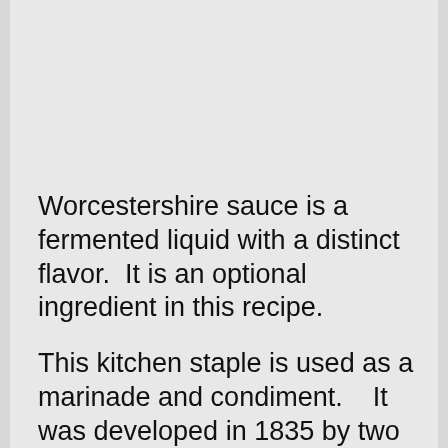Worcestershire sauce is a fermented liquid with a distinct flavor.  It is an optional ingredient in this recipe.
This kitchen staple is used as a marinade and condiment.   It was developed in 1835 by two chemists from Worcester named Lea and Perrins.
“Woo-ster-sheer” is how Worcestershire is pronounced